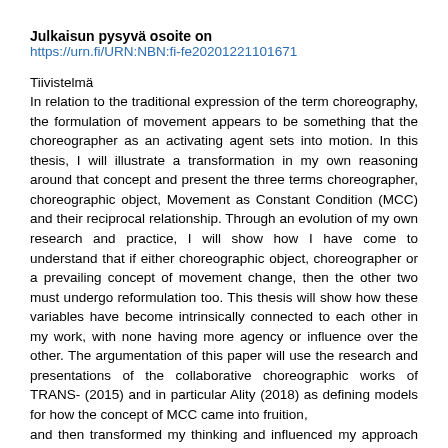Julkaisun pysyvä osoite on
https://urn.fi/URN:NBN:fi-fe20201221101671
Tiivistelmä
In relation to the traditional expression of the term choreography, the formulation of movement appears to be something that the choreographer as an activating agent sets into motion. In this thesis, I will illustrate a transformation in my own reasoning around that concept and present the three terms choreographer, choreographic object, Movement as Constant Condition (MCC) and their reciprocal relationship. Through an evolution of my own research and practice, I will show how I have come to understand that if either choreographic object, choreographer or a prevailing concept of movement change, then the other two must undergo reformulation too. This thesis will show how these variables have become intrinsically connected to each other in my work, with none having more agency or influence over the other. The argumentation of this paper will use the research and presentations of the collaborative choreographic works of TRANS- (2015) and in particular Ality (2018) as defining models for how the concept of MCC came into fruition,
and then transformed my thinking and influenced my approach to